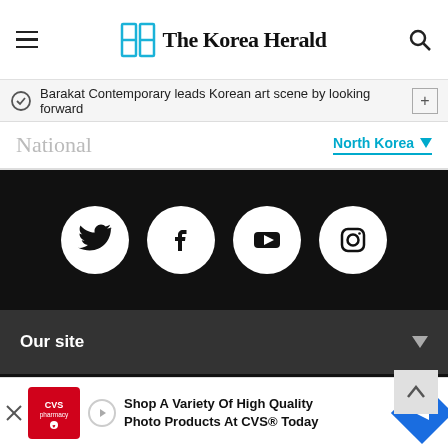The Korea Herald
Barakat Contemporary leads Korean art scene by looking forward
National
North Korea
[Figure (logo): Social media icons: Twitter, Facebook, YouTube, Instagram on black background]
Our site
The Korea Herald by Herald Corporation
Copyright Herald Corporation. All Rights Reserved.
Address : Huam-ro 4-gil 10, Yongsan-gu, Seoul, Korea
Online newspaper registration No.: Seoul 아03711
Date of registration : 2015.04.28
Publisher, Editor : Jeon Chang-hyeop
Juvenile Protection Manager: Ahn Sung-mi
[Figure (infographic): CVS advertisement: Shop A Variety Of High Quality Photo Products At CVS® Today]